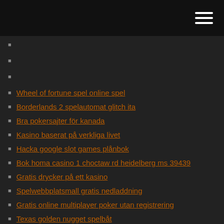Wheel of fortune spel online spel
Borderlands 2 spelautomat glitch ita
Bra pokersajter för kanada
Kasino baserat på verkliga livet
Hacka google slot games plånbok
Bok homa casino 1 choctaw rd heidelberg ms 39439
Gratis drycker på ett kasino
Spelwebbplatsmall gratis nedladdning
Gratis online multiplayer poker utan registrering
Texas golden nugget spelbåt
Fler stavningsluckor dark souls 2